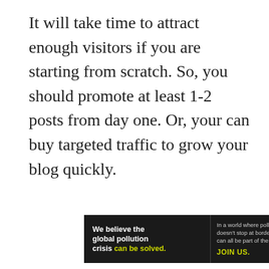It will take time to attract enough visitors if you are starting from scratch. So, you should promote at least 1-2 posts from day one. Or, your can buy targeted traffic to grow your blog quickly.
[Figure (other): Pure Earth advertisement banner with black background on left side reading 'We believe the global pollution crisis can be solved.' with green text for 'can be solved.' Middle section reads 'In a world where pollution doesn't stop at borders, we can all be part of the solution. JOIN US.' Right section has Pure Earth logo with diamond/arrow icon and text PURE EARTH.]